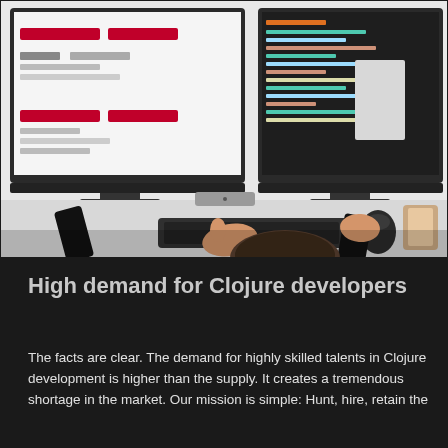[Figure (photo): Overhead view of a person working at a desk with two large monitors displaying code and UI, a Mac Mini, keyboard, mouse, two smartphones, and a coffee cup on a white desk.]
High demand for Clojure developers
The facts are clear. The demand for highly skilled talents in Clojure development is higher than the supply. It creates a tremendous shortage in the market. Our mission is simple: Hunt, hire, retain the